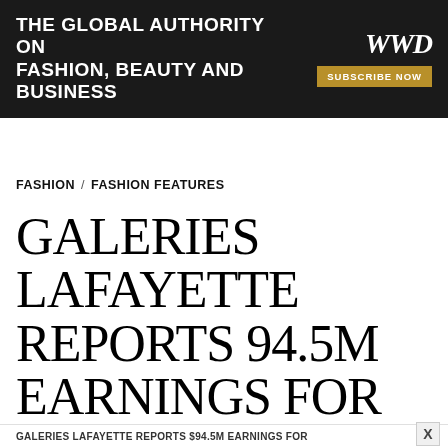[Figure (screenshot): WWD advertisement banner: dark background with white bold text 'THE GLOBAL AUTHORITY ON FASHION, BEAUTY AND BUSINESS', WWD logo in italic serif font on the right, and a gold 'SUBSCRIBE NOW' button.]
FASHION / FASHION FEATURES
GALERIES LAFAYETTE REPORTS 94.5M EARNINGS FOR 1996
GALERIES LAFAYETTE REPORTS $94.5M EARNINGS FOR